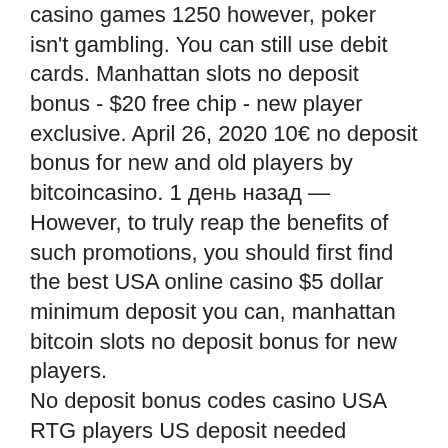casino games 1250 however, poker isn't gambling. You can still use debit cards. Manhattan slots no deposit bonus - $20 free chip - new player exclusive. April 26, 2020 10€ no deposit bonus for new and old players by bitcoincasino. 1 день назад — However, to truly reap the benefits of such promotions, you should first find the best USA online casino $5 dollar minimum deposit you can, manhattan bitcoin slots no deposit bonus for new players.
No deposit bonus codes casino USA RTG players US deposit needed bonuses JUNE 2021. Royal Ace Casino No Deposit Bonus Codes - USA Casino Codes, manhattan slots no deposit bonus code 2021. Royal Ace Casino Promo Codes; How to Claim Your First Royal Ace No Deposit Bonus Code; Bonus Code ROYALTY25: $25 Free Chip No.
No trading activity in this period. The new